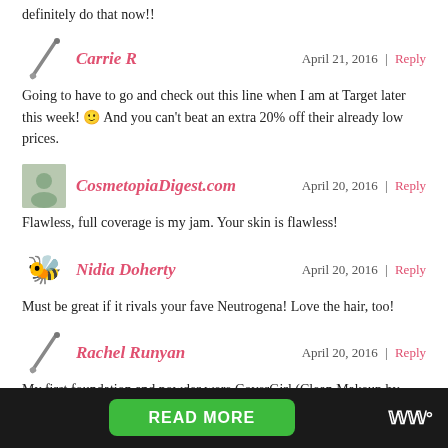definitely do that now!!
Carrie R
April 21, 2016 | Reply
Going to have to go and check out this line when I am at Target later this week! 🙂 And you can't beat an extra 20% off their already low prices.
CosmetopiaDigest.com
April 20, 2016 | Reply
Flawless, full coverage is my jam. Your skin is flawless!
Nidia Doherty
April 20, 2016 | Reply
Must be great if it rivals your fave Neutrogena! Love the hair, too!
Rachel Runyan
April 20, 2016 | Reply
My first foundation and powder were CoverGirl (Clean Makeup by Noxema).
READ MORE